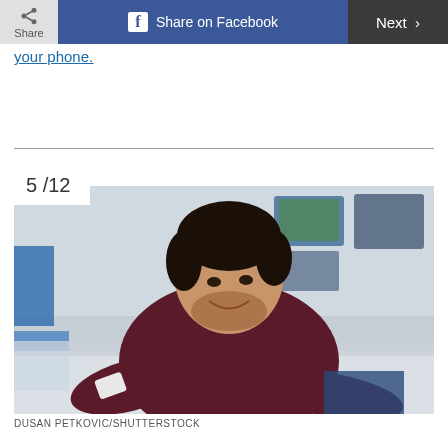Share | Share on Facebook | Next >
your phone.
5 /12
[Figure (photo): A smiling young man with a beard, wearing a dark maroon long-sleeve shirt, leaning over a counter in an electronics store and looking at a smartphone he is holding. Store displays with TVs visible in the background.]
DUSAN PETKOVIC/SHUTTERSTOCK